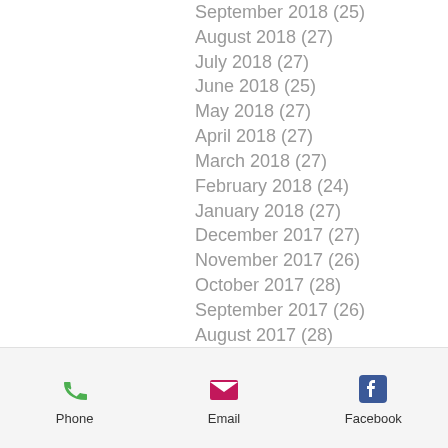September 2018 (25)
August 2018 (27)
July 2018 (27)
June 2018 (25)
May 2018 (27)
April 2018 (27)
March 2018 (27)
February 2018 (24)
January 2018 (27)
December 2017 (27)
November 2017 (26)
October 2017 (28)
September 2017 (26)
August 2017 (28)
July 2017 (27)
June 2017 (27)
May 2017 (25)
April 2017 (22)
March 2017 (5)
Phone  Email  Facebook